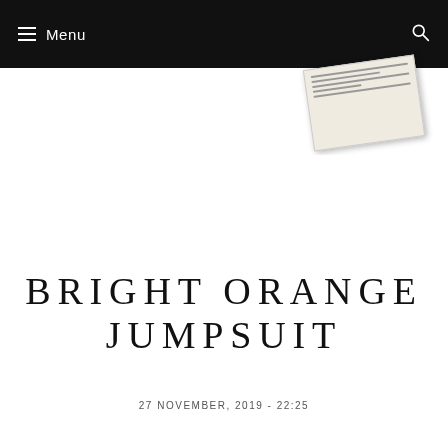Menu
[Figure (photo): Partially visible postcard or framed image angled/tilted against a black background in the top-right corner of the header area]
BRIGHT ORANGE JUMPSUIT
27 NOVEMBER, 2019 - 22:25